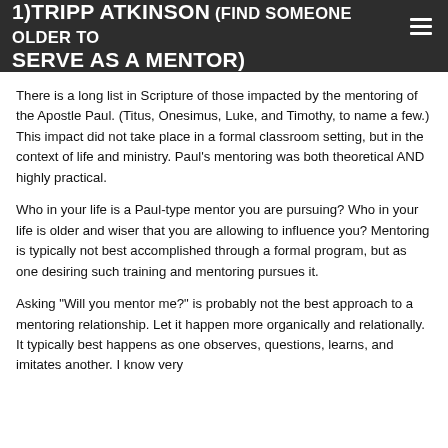1)TRIPP ATKINSON (FIND SOMEONE OLDER TO SERVE AS A MENTOR)
There is a long list in Scripture of those impacted by the mentoring of the Apostle Paul. (Titus, Onesimus, Luke, and Timothy, to name a few.) This impact did not take place in a formal classroom setting, but in the context of life and ministry. Paul’s mentoring was both theoretical AND highly practical.
Who in your life is a Paul-type mentor you are pursuing? Who in your life is older and wiser that you are allowing to influence you? Mentoring is typically not best accomplished through a formal program, but as one desiring such training and mentoring pursues it.
Asking “Will you mentor me?” is probably not the best approach to a mentoring relationship. Let it happen more organically and relationally. It typically best happens as one observes, questions, learns, and imitates another. I know very